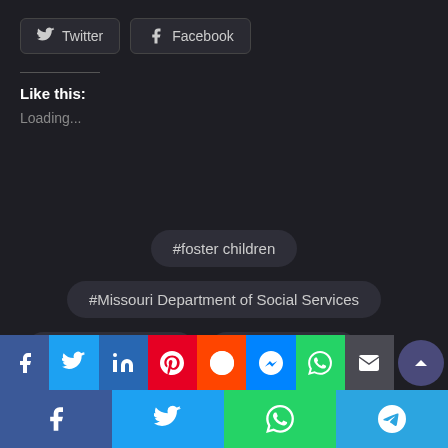[Figure (screenshot): Twitter and Facebook share buttons at top of page]
Like this:
Loading...
#foster children
#Missouri Department of Social Services
#Missouri KidsFirst
#Robert Knodell
[Figure (screenshot): Row of social media sharing icon buttons: Facebook, Twitter, LinkedIn, Pinterest, Reddit, Messenger, WhatsApp, Email, scroll-up]
[Figure (screenshot): Mobile sharing bar at bottom with Facebook, Twitter, WhatsApp, Telegram icons]